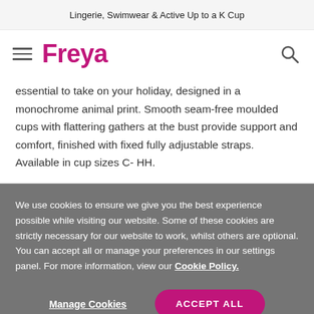Lingerie, Swimwear & Active Up to a K Cup
[Figure (logo): Freya brand logo with hamburger menu icon on the left and search icon on the right]
essential to take on your holiday, designed in a monochrome animal print. Smooth seam-free moulded cups with flattering gathers at the bust provide support and comfort, finished with fixed fully adjustable straps. Available in cup sizes C- HH.
We use cookies to ensure we give you the best experience possible while visiting our website. Some of these cookies are strictly necessary for our website to work, whilst others are optional. You can accept all or manage your preferences in our settings panel. For more information, view our Cookie Policy.
Manage Cookies | ACCEPT ALL